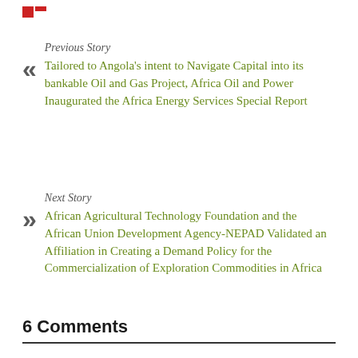[Figure (logo): Small red logo mark in top-left corner]
Previous Story
Tailored to Angola's intent to Navigate Capital into its bankable Oil and Gas Project, Africa Oil and Power Inaugurated the Africa Energy Services Special Report
Next Story
African Agricultural Technology Foundation and the African Union Development Agency-NEPAD Validated an Affiliation in Creating a Demand Policy for the Commercialization of Exploration Commodities in Africa
6 Comments